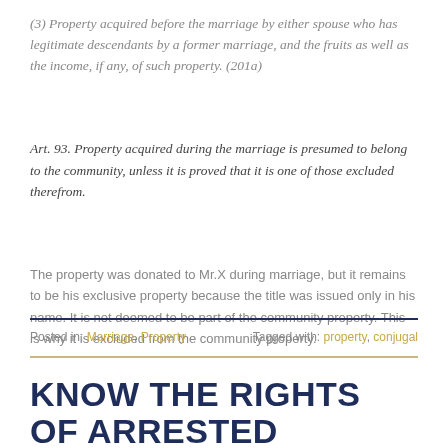(3) Property acquired before the marriage by either spouse who has legitimate descendants by a former marriage, and the fruits as well as the income, if any, of such property. (201a)
Art. 93. Property acquired during the marriage is presumed to belong to the community, unless it is proved that it is one of those excluded therefrom.
The property was donated to Mr.X during marriage, but it remains to be his exclusive property because the title was issued only in his name. It is not deemed to be part of the community property. This is why it is excluded from the community property.
Posted in: Marriage, Property   Tagged with: property, conjugal
KNOW THE RIGHTS OF ARRESTED INDIVIDUALS